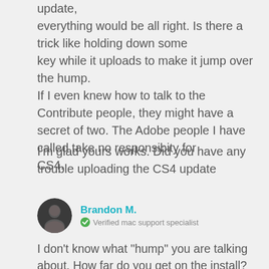update,
everything would be all right. Is there a trick like holding down some
key while it uploads to make it jump over the hump.
If I even knew how to talk to the Contribute people, they might have a
secret of two. The Adobe people I have called take no responsibity for
CS4.
I'm glad yours works. Did you have any trouble uploading the CS4 update
Brandon M.
Verified mac support specialist
I don't know what "hump" you are talking about. How far do you get on the install? Are you getting any errors?